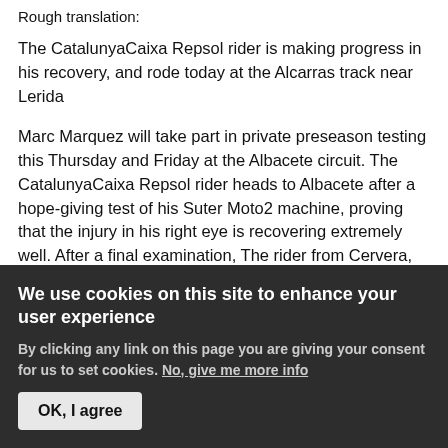Rough translation:
The CatalunyaCaixa Repsol rider is making progress in his recovery, and rode today at the Alcarras track near Lerida
Marc Marquez will take part in private preseason testing this Thursday and Friday at the Albacete circuit. The CatalunyaCaixa Repsol rider heads to Albacete after a hope-giving test of his Suter Moto2 machine, proving that the injury in his right eye is recovering extremely well. After a final examination, The rider from Cervera, Catalunya, received the go-ahead from his doctors this week, after spending much time on
We use cookies on this site to enhance your user experience
By clicking any link on this page you are giving your consent for us to set cookies. No, give me more info
OK, I agree